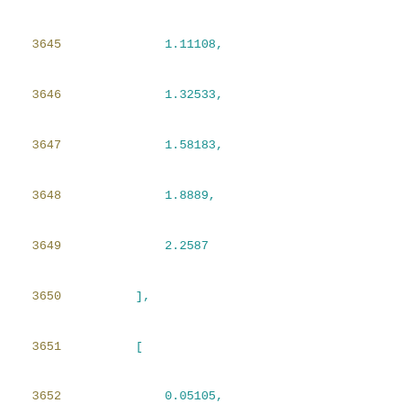3645    1.11108,
3646    1.32533,
3647    1.58183,
3648    1.8889,
3649    2.2587
3650    ],
3651    [
3652    0.05105,
3653    0.10888,
3654    0.12004,
3655    0.13339,
3656    0.14934,
3657    0.16847,
3658    0.19148,
3659    0.21941,
3660    0.25254,
3661    0.29322,
3662    0.34225,
3663    0.40098,
3664    0.47232,
3665    0.55716,
3666    ...